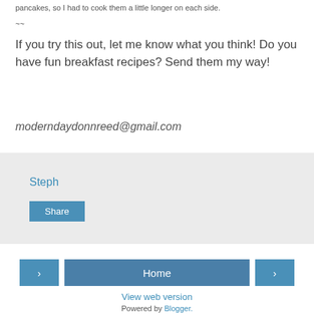pancakes, so I had to cook them a little longer on each side.
~~
If you try this out, let me know what you think! Do you have fun breakfast recipes? Send them my way!
moderndaydonnreed@gmail.com
Steph
Share
< Home > View web version Powered by Blogger.